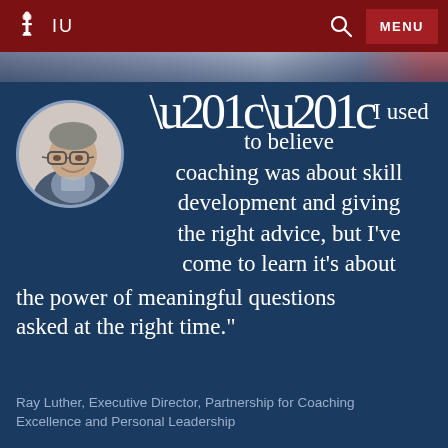IU — Indiana University navigation bar with search and menu
[Figure (photo): Circular portrait photo of Ray Luther, a middle-aged man with glasses wearing a blazer, smiling]
“I used to believe coaching was about skill development and giving the right advice, but I've come to learn it's about the power of meaningful questions asked at the right time."
Ray Luther, Executive Director, Partnership for Coaching Excellence and Personal Leadership